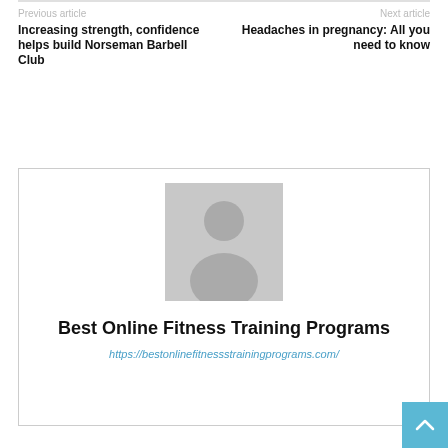Previous article
Next article
Increasing strength, confidence helps build Norseman Barbell Club
Headaches in pregnancy: All you need to know
[Figure (illustration): Generic user avatar placeholder image with silhouette of a person on grey background]
Best Online Fitness Training Programs
https://bestonlinefitnessstrainingprograms.com/